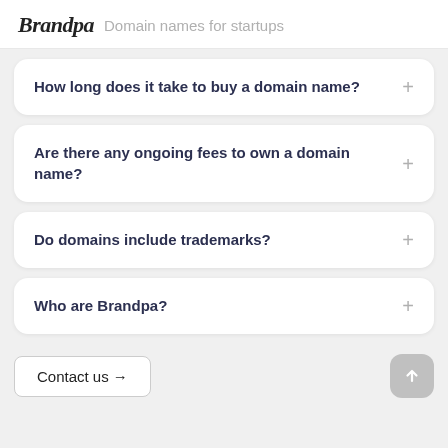Brandpa — Domain names for startups
How long does it take to buy a domain name?
Are there any ongoing fees to own a domain name?
Do domains include trademarks?
Who are Brandpa?
Contact us →